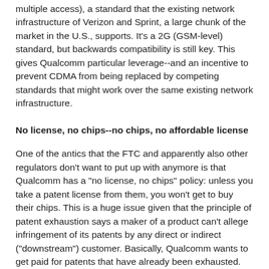multiple access), a standard that the existing network infrastructure of Verizon and Sprint, a large chunk of the market in the U.S., supports. It's a 2G (GSM-level) standard, but backwards compatibility is still key. This gives Qualcomm particular leverage--and an incentive to prevent CDMA from being replaced by competing standards that might work over the same existing network infrastructure.
No license, no chips--no chips, no affordable license
One of the antics that the FTC and apparently also other regulators don't want to put up with anymore is that Qualcomm has a "no license, no chips" policy: unless you take a patent license from them, you won't get to buy their chips. This is a huge issue given that the principle of patent exhaustion says a maker of a product can't allege infringement of its patents by any direct or indirect ("downstream") customer. Basically, Qualcomm wants to get paid for patents that have already been exhausted. (According to what I read in a complaint, Qualcomm also wants to get paid for patents that have expired...)
The even bigger problem is that Qualcomm allegedly